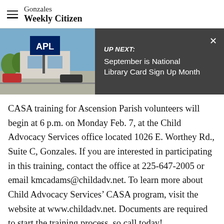Gonzales Weekly Citizen
[Figure (screenshot): Dark banner with thumbnail photo of APL store sign and 'UP NEXT: September is National Library Card Sign Up Month' text, with X close button]
CASA training for Ascension Parish volunteers will begin at 6 p.m. on Monday Feb. 7, at the Child Advocacy Services office located 1026 E. Worthey Rd., Suite C, Gonzales. If you are interested in participating in this training, contact the office at 225-647-2005 or email kmcadams@childadv.net. To learn more about Child Advocacy Services’ CASA program, visit the website at www.childadv.net. Documents are required to start the training process, so call today!
Advertisement